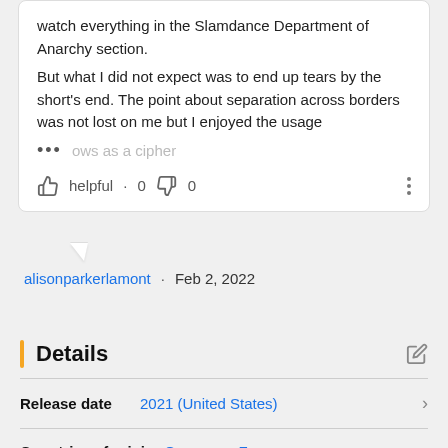watch everything in the Slamdance Department of Anarchy section.

But what I did not expect was to end up tears by the short's end. The point about separation across borders was not lost on me but I enjoyed the usage ... ows as a cipher
helpful · 0   0
alisonparkerlamont · Feb 2, 2022
Details
| Field | Value |
| --- | --- |
| Release date | 2021 (United States) |
| Countries of origin | Germany   France |